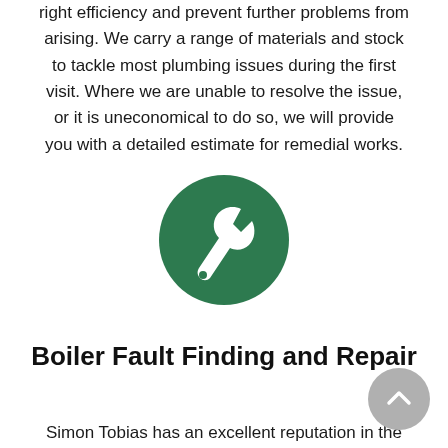right efficiency and prevent further problems from arising. We carry a range of materials and stock to tackle most plumbing issues during the first visit. Where we are unable to resolve the issue, or it is uneconomical to do so, we will provide you with a detailed estimate for remedial works.
[Figure (illustration): Dark green circle with a white wrench/spanner icon in the center]
Boiler Fault Finding and Repair
Simon Tobias has an excellent reputation in the